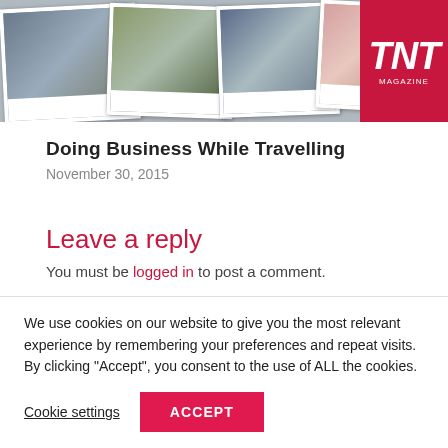[Figure (photo): Photo collage strip with multiple polaroid-style travel photos and TNT Magazine logo on the right]
Doing Business While Travelling
November 30, 2015
Leave a reply
You must be logged in to post a comment.
We use cookies on our website to give you the most relevant experience by remembering your preferences and repeat visits. By clicking “Accept”, you consent to the use of ALL the cookies.
Cookie settings | ACCEPT